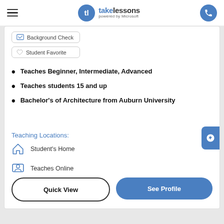takelessons powered by Microsoft
Background Check
Student Favorite
Teaches Beginner, Intermediate, Advanced
Teaches students 15 and up
Bachelor's of Architecture from Auburn University
Teaching Locations:
Student's Home
Teaches Online
Teacher's Studio
Quick View
See Profile